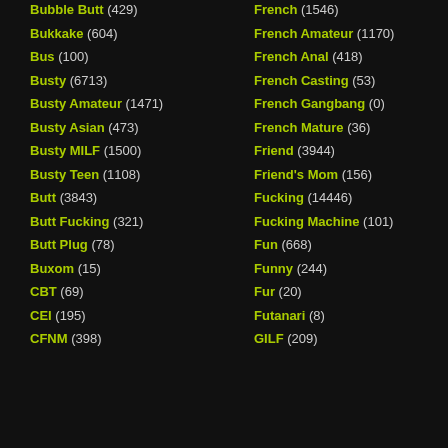Bubble Butt (429)
Bukkake (604)
Bus (100)
Busty (6713)
Busty Amateur (1471)
Busty Asian (473)
Busty MILF (1500)
Busty Teen (1108)
Butt (3843)
Butt Fucking (321)
Butt Plug (78)
Buxom (15)
CBT (69)
CEI (195)
CFNM (398)
French (1546)
French Amateur (1170)
French Anal (418)
French Casting (53)
French Gangbang (0)
French Mature (36)
Friend (3944)
Friend's Mom (156)
Fucking (14446)
Fucking Machine (101)
Fun (668)
Funny (244)
Fur (20)
Futanari (8)
GILF (209)